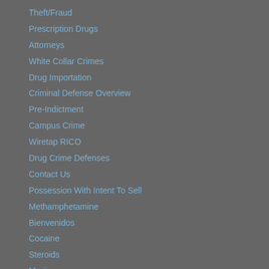Theft/Fraud
Prescription Drugs
Attorneys
White Collar Crimes
Drug Importation
Criminal Defense Overview
Pre-Indictment
Campus Crime
Wiretap RICO
Drug Crime Defenses
Contact Us
Possession With Intent To Sell
Methamphetamine
Bienvenidos
Cocaine
Steroids
Marijuana
© 2018 by O. Joseph Chornenky, P.C. All rights reserved. Disclaimer | Site Map
O. Joseph Chornenky, Arizona criminal defense lawyer, represents communities all across Arizona.